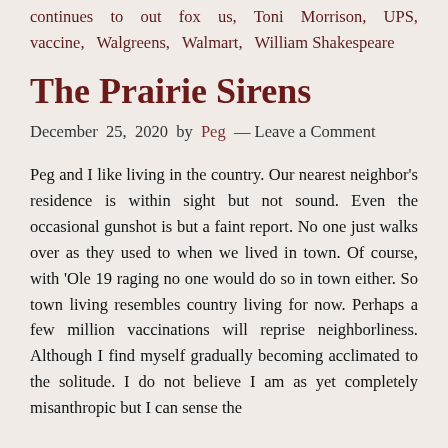continues to out fox us, Toni Morrison, UPS, vaccine, Walgreens, Walmart, William Shakespeare
The Prairie Sirens
December 25, 2020 by Peg — Leave a Comment
Peg and I like living in the country. Our nearest neighbor's residence is within sight but not sound. Even the occasional gunshot is but a faint report. No one just walks over as they used to when we lived in town. Of course, with 'Ole 19 raging no one would do so in town either. So town living resembles country living for now. Perhaps a few million vaccinations will reprise neighborliness. Although I find myself gradually becoming acclimated to the solitude. I do not believe I am as yet completely misanthropic but I can sense the